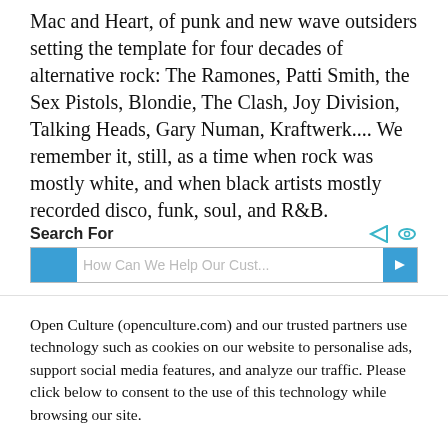Mac and Heart, of punk and new wave outsiders setting the template for four decades of alternative rock: The Ramones, Patti Smith, the Sex Pistols, Blondie, The Clash, Joy Division, Talking Heads, Gary Numan, Kraftwerk.... We remember it, still, as a time when rock was mostly white, and when black artists mostly recorded disco, funk, soul, and R&B.
[Figure (screenshot): Search bar widget with 'Search For' label and teal/blue icons, with a partially visible search input field]
Open Culture (openculture.com) and our trusted partners use technology such as cookies on our website to personalise ads, support social media features, and analyze our traffic. Please click below to consent to the use of this technology while browsing our site.
Cookie settings   ACCEPT